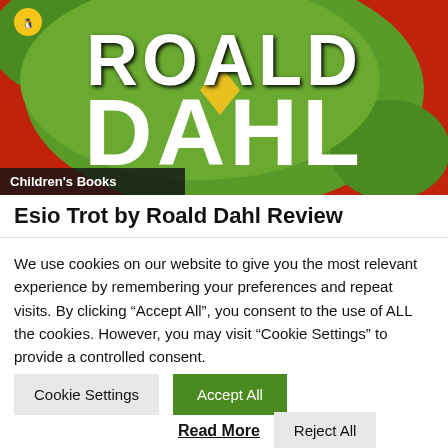[Figure (illustration): Book cover of a Roald Dahl book showing the text 'ROALD DAHL' in large white letters on a green and red background, with a Puffin Books penguin logo in the top left corner. A label 'Children's Books' appears at the bottom left of the image.]
Esio Trot by Roald Dahl Review
We use cookies on our website to give you the most relevant experience by remembering your preferences and repeat visits. By clicking “Accept All”, you consent to the use of ALL the cookies. However, you may visit “Cookie Settings” to provide a controlled consent.